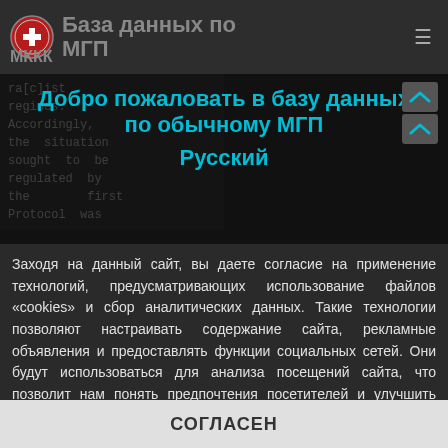База данных по МГП — МККК
ra[c]ist regimes. Accordingly, the situation sought to be regulated by the first Protocol was
Добро пожаловать в базу данных по обычному МГП
Русский
Заходя на данный сайт, вы даете согласие на применение технологий, предусматривающих использование файлов «cookies» и сбор аналитических данных. Такие технологии позволяют настраивать содержание сайта, рекламные объявления и предоставлять функции социальных сетей. Они будут использоваться для анализа посещений сайта, что позволит нам понять предпочтения посетителей и улучшить предоставляемые услуги. Узнать больше
СОГЛАСЕН